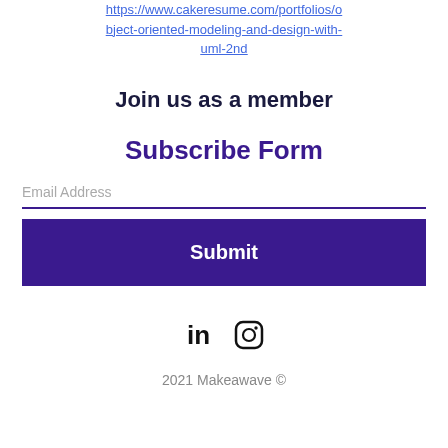https://www.cakeresume.com/portfolios/object-oriented-modeling-and-design-with-uml-2nd
Join us as a member
Subscribe Form
Email Address
Submit
[Figure (other): LinkedIn and Instagram social media icons]
2021 Makeawave ©